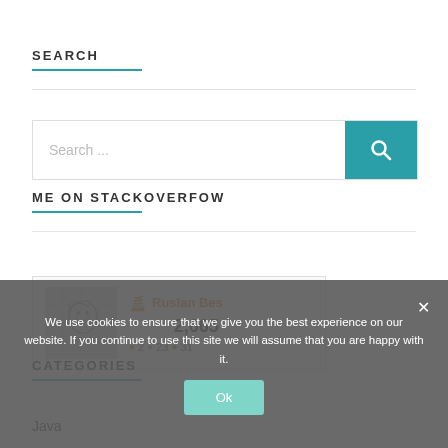SEARCH
[Figure (screenshot): Search bar with teal search button and magnifier icon, with placeholder text 'Search ...']
ME ON STACKOVERFOW
[Figure (screenshot): Stack Overflow profile card for Ruslan Bes with score 2,665 and badges 2 gold, 23 silver, 31 bronze]
CATEGORIES
Java
We use cookies to ensure that we give you the best experience on our website. If you continue to use this site we will assume that you are happy with it.